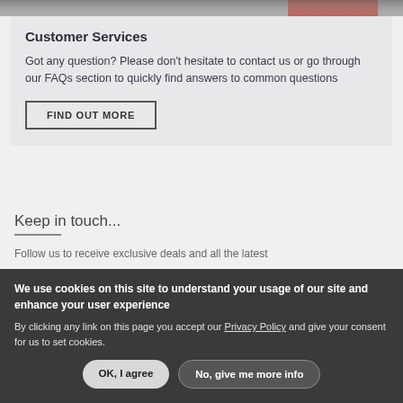[Figure (photo): Top strip showing partial image, appears to be a food or product photo with red element visible]
Customer Services
Got any question? Please don't hesitate to contact us or go through our FAQs section to quickly find answers to common questions
FIND OUT MORE
Keep in touch...
Follow us to receive exclusive deals and all the latest
We use cookies on this site to understand your usage of our site and enhance your user experience
By clicking any link on this page you accept our Privacy Policy and give your consent for us to set cookies.
OK, I agree
No, give me more info